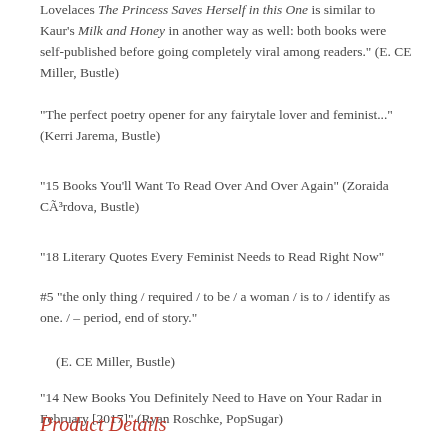Lovelaces The Princess Saves Herself in this One is similar to Kaur's Milk and Honey in another way as well: both books were self-published before going completely viral among readers." (E. CE Miller, Bustle)
"The perfect poetry opener for any fairytale lover and feminist..." (Kerri Jarema, Bustle)
"15 Books You'll Want To Read Over And Over Again" (Zoraida CÃ³rdova, Bustle)
"18 Literary Quotes Every Feminist Needs to Read Right Now"
#5 "the only thing / required / to be / a woman / is to / identify as one. / – period, end of story."
(E. CE Miller, Bustle)
"14 New Books You Definitely Need to Have on Your Radar in February [2017]" (Ryan Roschke, PopSugar)
Product Details